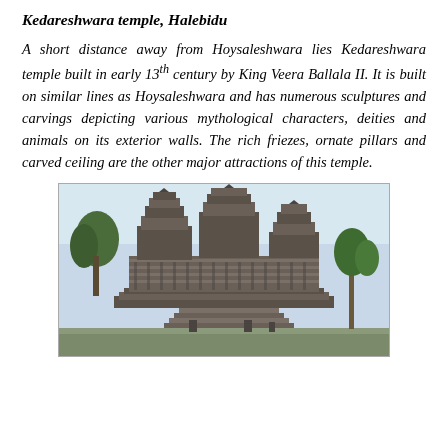Kedareshwara temple, Halebidu
A short distance away from Hoysaleshwara lies Kedareshwara temple built in early 13th century by King Veera Ballala II. It is built on similar lines as Hoysaleshwara and has numerous sculptures and carvings depicting various mythological characters, deities and animals on its exterior walls. The rich friezes, ornate pillars and carved ceiling are the other major attractions of this temple.
[Figure (photo): Photograph of Kedareshwara temple at Halebidu showing the exterior stone structure with intricate carvings, stepped platform, palm trees in background, under a light sky.]